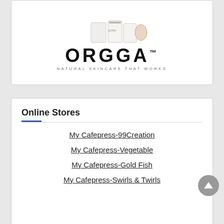[Figure (logo): ORGGA Natural Skincare That Works logo with product images above]
Online Stores
My Cafepress-99Creation
My Cafepress-Vegetable
My Cafepress-Gold Fish
My Cafepress-Swirls & Twirls
Visit My Home